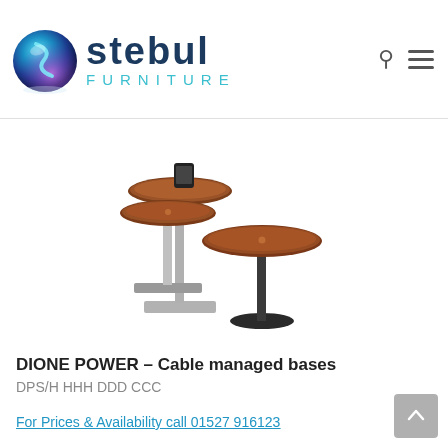[Figure (logo): Stebul Furniture logo with blue sphere graphic and dark navy 'stebul' wordmark with teal 'FURNITURE' subtitle]
[Figure (photo): Three circular-top pedestal tables (Dione Power series) with wood veneer tops and metal bases at varying heights, one with a tablet device on top]
DIONE POWER – Cable managed bases
DPS/H HHH DDD CCC
For Prices & Availability call 01527 916123